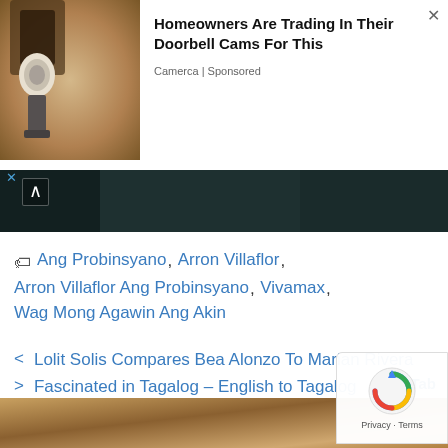[Figure (screenshot): Advertisement banner showing a doorbell camera lamp on a stone wall with ad text]
Homeowners Are Trading In Their Doorbell Cams For This
Camerca | Sponsored
[Figure (photo): Dark teal/dark green banner image with a chevron-up arrow button]
Ang Probinsyano, Arron Villaflor, Arron Villaflor Ang Probinsyano, Vivamax, Wag Mong Agawin Ang Akin
Lolit Solis Compares Bea Alonzo To Marian Rivera
Fascinated in Tagalog – English to Tagalog Translation